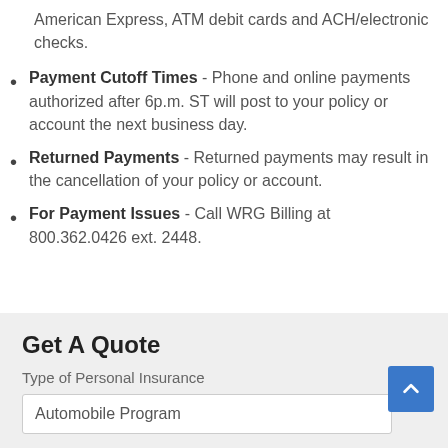American Express, ATM debit cards and ACH/electronic checks.
Payment Cutoff Times - Phone and online payments authorized after 6p.m. ST will post to your policy or account the next business day.
Returned Payments - Returned payments may result in the cancellation of your policy or account.
For Payment Issues - Call WRG Billing at 800.362.0426 ext. 2448.
Get A Quote
Type of Personal Insurance
Automobile Program